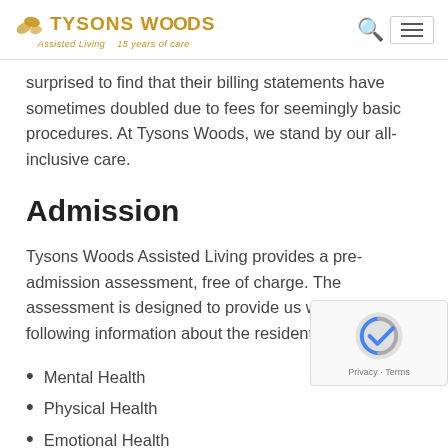Tysons Woods Assisted Living — 15 years of care
surprised to find that their billing statements have sometimes doubled due to fees for seemingly basic procedures. At Tysons Woods, we stand by our all-inclusive care.
Admission
Tysons Woods Assisted Living provides a pre-admission assessment, free of charge. The assessment is designed to provide us with the following information about the resident:
Mental Health
Physical Health
Emotional Health